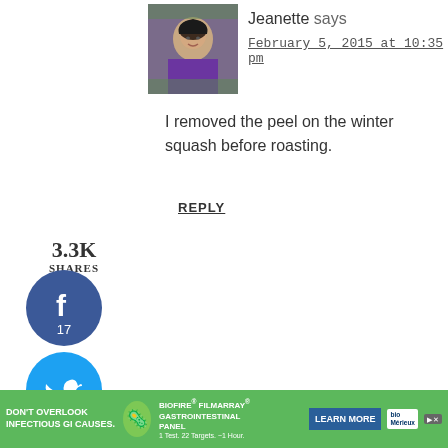[Figure (photo): Avatar photo of Jeanette, Asian woman in purple top]
Jeanette says
February 5, 2015 at 10:35 pm
I removed the peel on the winter squash before roasting.
REPLY
3.3K SHARES
[Figure (infographic): Facebook share button, blue circle with f icon, count 17]
[Figure (infographic): Twitter share button, light blue circle with bird icon]
[Figure (infographic): Pinterest share button, red circle with P icon, count 3.3K]
[Figure (infographic): Yummly share button, orange circle with Yum text]
[Figure (photo): Avatar photo of Michelle, woman in blue/gray top outdoors]
Michelle says
October 4, 2017 at 11:43 am
Made this the other night and it was delicious!! I was hesitant to use maple syrup so just drizzled a little and Wow- what a nice touch. Thank y...
[Figure (infographic): Advertisement banner: DON'T OVERLOOK INFECTIOUS GI CAUSES. BIOFIRE FILMARRAY GASTROINTESTINAL PANEL. LEARN MORE. bioMerieux logo.]